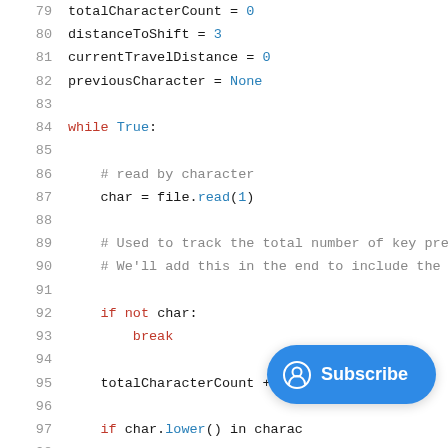[Figure (screenshot): Python code editor screenshot showing lines 79–99 with syntax highlighting. Keywords 'while', 'if', 'not', 'break' in red; values 'True', 'None', 'read', 'lower', numeric literals in blue; comments in grey. A blue 'Subscribe' button overlays the bottom-right corner.]